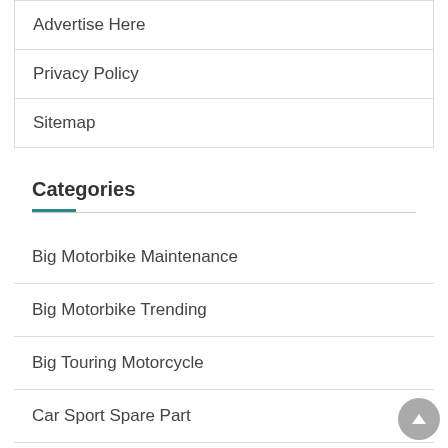Advertise Here
Privacy Policy
Sitemap
Categories
Big Motorbike Maintenance
Big Motorbike Trending
Big Touring Motorcycle
Car Sport Spare Part
Sports Car Modification
Sports Car Trending